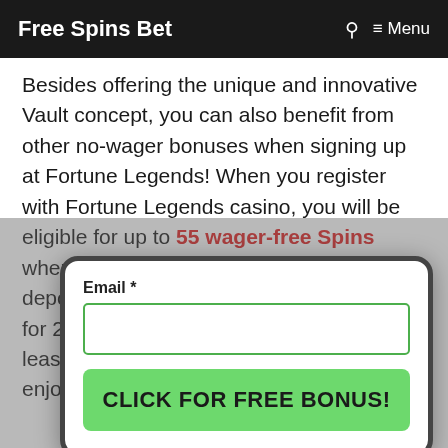Free Spins Bet   🔍  ≡ Menu
Besides offering the unique and innovative Vault concept, you can also benefit from other no-wager bonuses when signing up at Fortune Legends! When you register with Fortune Legends casino, you will be eligible for up to 55 wager-free Spins when you make your first deposit. For a deposit of at least €20, you will be eligible for 20 free spins whilst if you deposit at least €50, you will earn 55 free spins to enjoy on the
[Figure (screenshot): A popup modal card with an Email input field (labeled 'Email *') and a green button reading 'CLICK FOR FREE BONUS!']